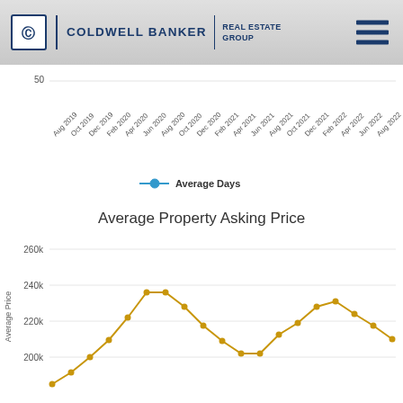[Figure (logo): Coldwell Banker Real Estate Group logo with CB icon and hamburger menu icon]
[Figure (line-chart): Top portion of a line chart showing average days, x-axis labels from Aug 2019 to Aug 2022]
[Figure (line-chart): Line chart showing average property asking price over time from Aug 2019 to Aug 2022, y-axis shows 200k, 220k, 240k, 260k]